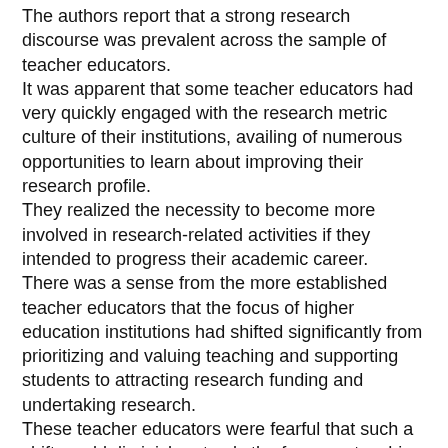The authors report that a strong research discourse was prevalent across the sample of teacher educators. It was apparent that some teacher educators had very quickly engaged with the research metric culture of their institutions, availing of numerous opportunities to learn about improving their research profile. They realized the necessity to become more involved in research-related activities if they intended to progress their academic career. There was a sense from the more established teacher educators that the focus of higher education institutions had shifted significantly from prioritizing and valuing teaching and supporting students to attracting research funding and undertaking research. These teacher educators were fearful that such a shift would diminish not only the focus on teaching as a successful academic career but the standing of teaching which was traditionally the central aspect of teacher education. Others noted the difficulty and frustration in defining research-related activities specific to the content of their subject-disciplines.